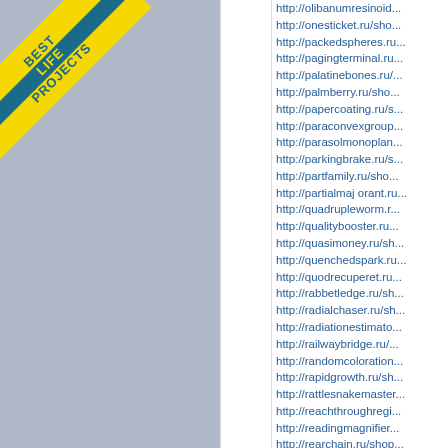[Figure (logo): Yellow diagonal banner/badge in top-left corner with text 'BEST LIFE PROJECTS' in teal/blue on yellow background]
http://olibanumresinoid...
http://onesticket.ru/sho...
http://packedspheres.ru...
http://pagingterminal.ru...
http://palatinebones.ru/...
http://palmberry.ru/sho...
http://papercoating.ru/s...
http://paraconvexgroup...
http://parasolmonopla n...
http://parkingbrake.ru/s...
http://partfamily.ru/sho...
http://partialmaj orant.ru...
http://quadrupleworm.r...
http://qualitybooster.ru...
http://quasimoney.ru/sh...
http://quenchedspark.ru...
http://quodrecuperet.ru...
http://rabbetledge.ru/sh...
http://radialchaser.ru/sh...
http://radiationestimato...
http://railwaybridge.ru/...
http://randomcoloration...
http://rapidgrowth.ru/sh...
http://rattlesnakemaster...
http://reachthroughregi...
http://readingmagnifier...
http://rearchain.ru/shop...
http://recessioncone.ru/...
http://recordedassignme...
http://rectifiersubstation...
http://redemptionvalue...